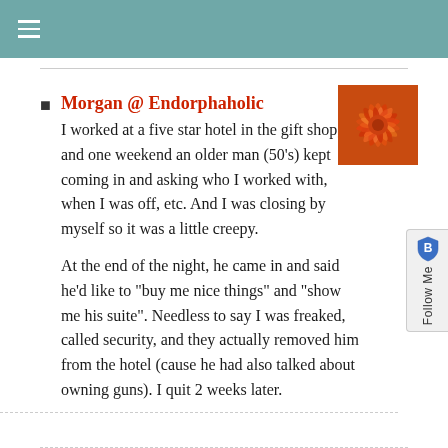≡
Morgan @ Endorphaholic
I worked at a five star hotel in the gift shop, and one weekend an older man (50's) kept coming in and asking who I worked with, when I was off, etc. And I was closing by myself so it was a little creepy.

At the end of the night, he came in and said he'd like to "buy me nice things" and "show me his suite". Needless to say I was freaked, called security, and they actually removed him from the hotel (cause he had also talked about owning guns). I quit 2 weeks later.
[Figure (photo): A close-up photo of an orange/red chrysanthemum flower]